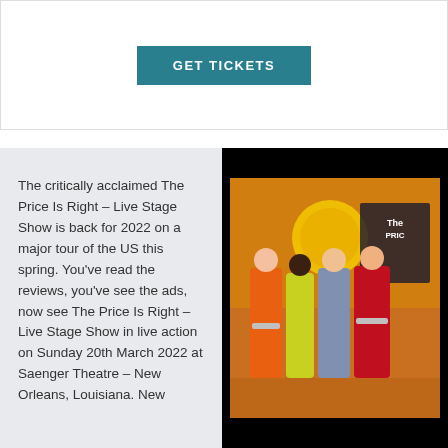GET TICKETS
The critically acclaimed The Price Is Right – Live Stage Show is back for 2022 on a major tour of the US this spring. You've read the reviews, you've see the ads, now see The Price Is Right – Live Stage Show in live action on Sunday 20th March 2022 at Saenger Theatre – New Orleans, Louisiana. New
[Figure (photo): Photo of four people posing together in front of a colorful The Price Is Right stage set backdrop. Two performers are wearing orange and red costumes, and two others are dressed in everyday clothes. The Price Is Right logo is visible in the background.]